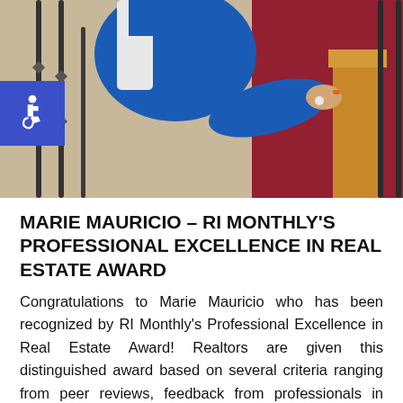[Figure (photo): Photograph of Marie Mauricio, a woman in a blue dress standing at a staircase railing, with decorative ironwork balusters and wood railing visible. An accessibility icon (wheelchair symbol) overlay appears in the upper left on a blue square background.]
MARIE MAURICIO – RI MONTHLY'S PROFESSIONAL EXCELLENCE IN REAL ESTATE AWARD
Congratulations to Marie Mauricio who has been recognized by RI Monthly's Professional Excellence in Real Estate Award! Realtors are given this distinguished award based on several criteria ranging from peer reviews, feedback from professionals in related fields, sales volume and more! Congratulations Marie Mauricio and to The Molly Group for this...